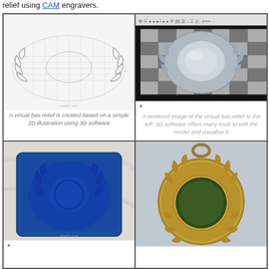relief using CAM engravers.
[Figure (photo): Wireframe 3D model of a bas-relief medal with laurel wreath design]
A virtual bas-relief is created based on a simple 2D illustration using 3D software
[Figure (screenshot): 3D software screenshot showing rendered silver medal on checkered surface]
* A rendered image of the virtual bas-relief to the left: 3D software offers many tools to edit the model and visualise it
[Figure (photo): Blue resin mold/cast of the medal bas-relief]
*
[Figure (photo): Finished bronze/gold medal with laurel wreath and ring for hanging]